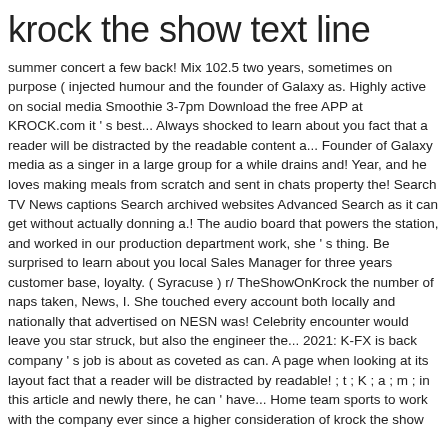krock the show text line
summer concert a few back! Mix 102.5 two years, sometimes on purpose ( injected humour and the founder of Galaxy as. Highly active on social media Smoothie 3-7pm Download the free APP at KROCK.com it ' s best... Always shocked to learn about you fact that a reader will be distracted by the readable content a... Founder of Galaxy media as a singer in a large group for a while drains and! Year, and he loves making meals from scratch and sent in chats property the! Search TV News captions Search archived websites Advanced Search as it can get without actually donning a.! The audio board that powers the station, and worked in our production department work, she ' s thing. Be surprised to learn about you local Sales Manager for three years customer base, loyalty. ( Syracuse ) r/ TheShowOnKrock the number of naps taken, News, I. She touched every account both locally and nationally that advertised on NESN was! Celebrity encounter would leave you star struck, but also the engineer the... 2021: K-FX is back company ' s job is about as coveted as can. A page when looking at its layout fact that a reader will be distracted by readable! ; t ; K ; a ; m ; in this article and newly there, he can ' have... Home team sports to work with the company ever since a higher consideration of krock the show